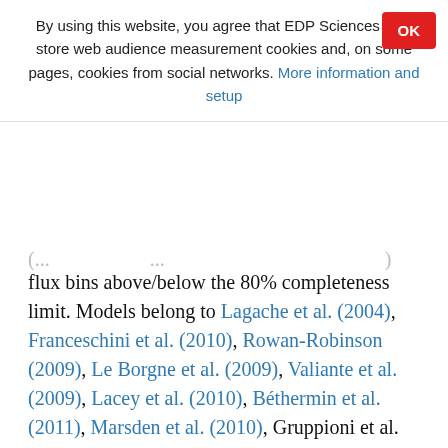By using this website, you agree that EDP Sciences may store web audience measurement cookies and, on some pages, cookies from social networks. More information and setup
flux bins above/below the 80% completeness limit. Models belong to Lagache et al. (2004), Franceschini et al. (2010), Rowan-Robinson (2009), Le Borgne et al. (2009), Valiante et al. (2009), Lacey et al. (2010), Béthermin et al. (2011), Marsden et al. (2010), Gruppioni et al. (2011), Niemi et al. (in prep.). Shaded areas represent ISO and Spitzer data (Rodighiero & Franceschini 2004; Héraudeau et al. 2004; Béthermin et al. 2010a); hatched areas belong to Spitzer 24 μm stacking (Béthermin et al. 2010a). Left and right panels present individual fields and averaged counts, respectively.